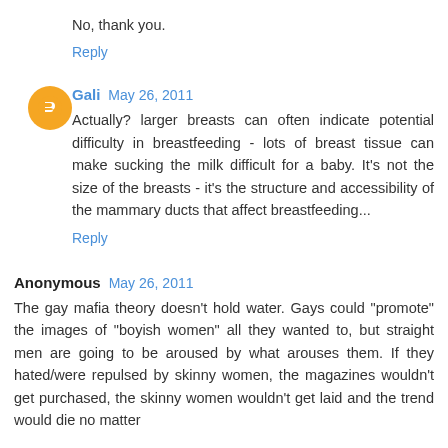No, thank you.
Reply
Gali  May 26, 2011
Actually? larger breasts can often indicate potential difficulty in breastfeeding - lots of breast tissue can make sucking the milk difficult for a baby. It's not the size of the breasts - it's the structure and accessibility of the mammary ducts that affect breastfeeding...
Reply
Anonymous  May 26, 2011
The gay mafia theory doesn't hold water. Gays could "promote" the images of "boyish women" all they wanted to, but straight men are going to be aroused by what arouses them. If they hated/were repulsed by skinny women, the magazines wouldn't get purchased, the skinny women wouldn't get laid and the trend would die no matter